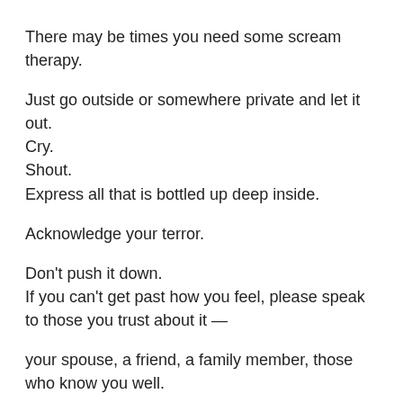There may be times you need some scream therapy.
Just go outside or somewhere private and let it out.
Cry.
Shout.
Express all that is bottled up deep inside.
Acknowledge your terror.
Don't push it down.
If you can't get past how you feel, please speak to those you trust about it —
your spouse, a friend, a family member, those who know you well.
If you feel yourself spiraling into depression, please get professional help.